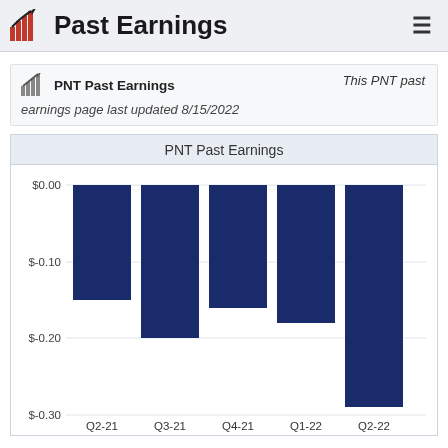Past Earnings
PNT Past Earnings   This PNT past earnings page last updated 8/15/2022
[Figure (bar-chart): PNT Past Earnings]